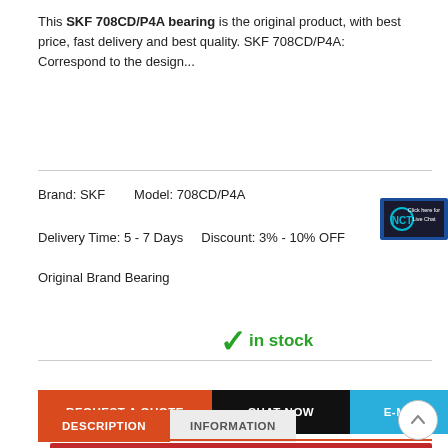This SKF 708CD/P4A bearing is the original product, with best price, fast delivery and best quality. SKF 708CD/P4A: Correspond to the design...
Brand: SKF    Model: 708CD/P4A
Delivery Time: 5 - 7 Days    Discount: 3% - 10% OFF
Original Brand Bearing
✓ in stock
REQUEST A QUOTE  CHAT NOW  E-MAIL
DESCRIPTION  INFORMATION
[Figure (infographic): PRODUCT ADVANTAGE banner in red with SKF and other brand logos below]